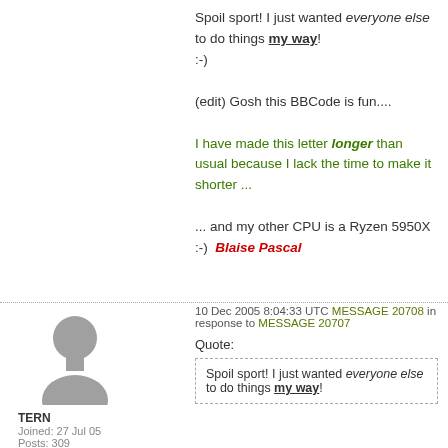Spoil sport! I just wanted everyone else to do things my way!
:-)

(edit) Gosh this BBCode is fun....

I have made this letter longer than usual because I lack the time to make it shorter ...

... and my other CPU is a Ryzen 5950X
:-) Blaise Pascal
10 Dec 2005 8:04:33 UTC MESSAGE 20708 in response to MESSAGE 20707
Quote:
Spoil sport! I just wanted everyone else to do things my way!
TERN
Joined: 27 Jul 05
Posts: 309